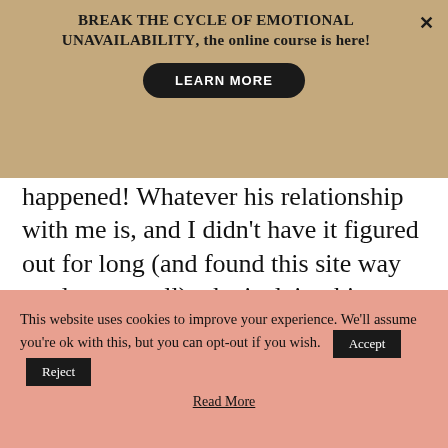BREAK THE CYCLE OF EMOTIONAL UNAVAILABILITY, the online course is here!
happened! Whatever his relationship with me is, and I didn't have it figured out for long (and found this site way too late as well) – he is doing his part. His family is extremely supportive too. Time will tell if he can keep it up. I am not deluded.
This website uses cookies to improve your experience. We'll assume you're ok with this, but you can opt-out if you wish.
Read More